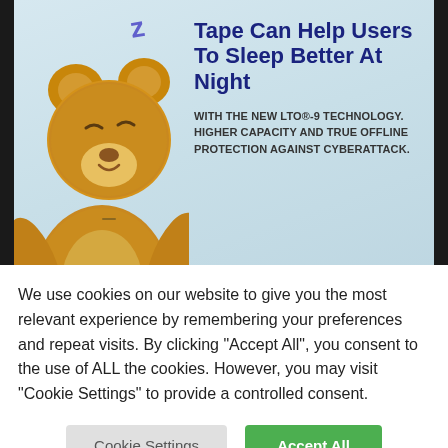[Figure (illustration): Advertisement banner for LTO-9 tape technology featuring a sleeping teddy bear with a 'Z' above it (representing sleep). Right side shows bold dark blue headline 'Tape Can Help Users To Sleep Better At Night', subtext about LTO-9 technology, a 'LEARN MORE' blue button, and the Ultrium LTO 9 logo.]
We use cookies on our website to give you the most relevant experience by remembering your preferences and repeat visits. By clicking "Accept All", you consent to the use of ALL the cookies. However, you may visit "Cookie Settings" to provide a controlled consent.
Cookie Settings
Accept All